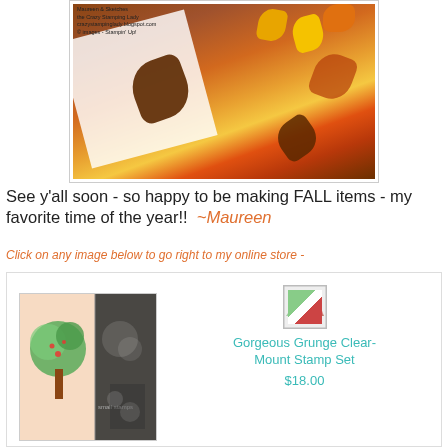[Figure (photo): Close-up photo of colorful fall leaves (yellow, orange, red, dark brown) scattered on what appears to be white tissue paper and a wooden surface. Small text in top-left corner reads: 'the Crazy Stamping Lady / crazystampinglady.blogspot.com / © images - Stampin' Up!']
See y'all soon - so happy to be making FALL items - my favorite time of the year!!  ~Maureen
Click on any image below to go right to my online store -
[Figure (photo): Product image of a stamp set showing tree designs on pink and dark backgrounds]
Gorgeous Grunge Clear-Mount Stamp Set
$18.00